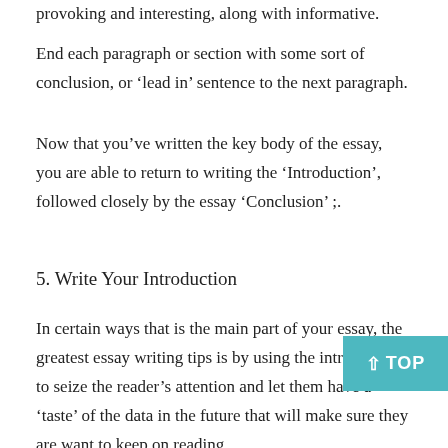provoking and interesting, along with informative.
End each paragraph or section with some sort of conclusion, or ‘lead in’ sentence to the next paragraph.
Now that you’ve written the key body of the essay, you are able to return to writing the ‘Introduction’, followed closely by the essay ‘Conclusion’ ;.
5. Write Your Introduction
In certain ways that is the main part of your essay, the greatest essay writing tips is by using the introduction to seize the reader’s attention and let them have a ‘taste’ of the data in the future that will make sure they are want to keep on reading.